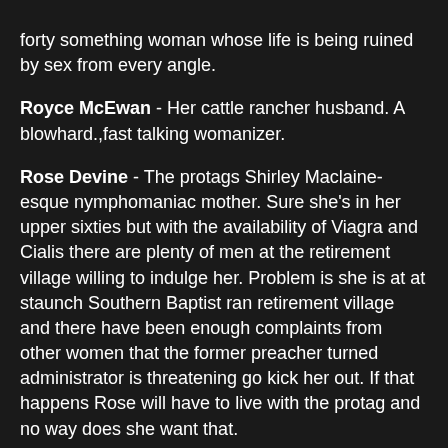forty something woman whose life is being ruined by sex from every angle.
Royce McEwan - Her cattle rancher husband. A blowhard.,fast talking womanizer.
Rose Devine - The protags Shirley Maclaine-esque nymphomaniac mother. Sure she's in her upper sixties but with the availability of Viagra and Cialis there are plenty of men at the retirement village willing to indulge her. Problem is she is at at staunch Southern Baptist ran retirement village and there have been enough complaints from other women that the former preacher turned administrator is threatening go kick her out. If that happens Rose will have to live with the protag and no way does she want that.
Joe Ray Pearson - Royce's ranch foremen. Loyal to a fault. A good ol' boy.
Luann Pearson - His gossipy and well meaning, but destructive wife.